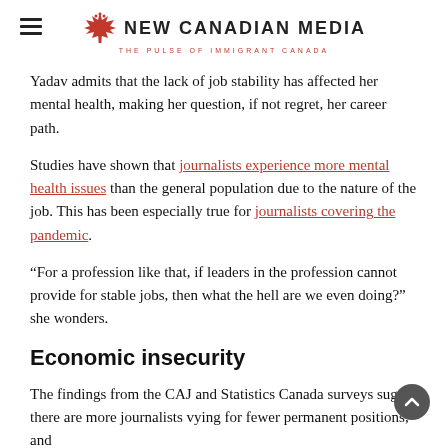NEW CANADIAN MEDIA — THE PULSE OF IMMIGRANT CANADA
Yadav admits that the lack of job stability has affected her mental health, making her question, if not regret, her career path.
Studies have shown that journalists experience more mental health issues than the general population due to the nature of the job. This has been especially true for journalists covering the pandemic.
“For a profession like that, if leaders in the profession cannot provide for stable jobs, then what the hell are we even doing?” she wonders.
Economic insecurity
The findings from the CAJ and Statistics Canada surveys suggest there are more journalists vying for fewer permanent positions, and